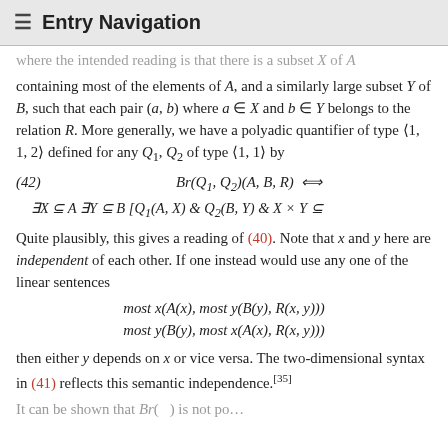≡ Entry Navigation
where the intended reading is that there is a subset X of A containing most of the elements of A, and a similarly large subset Y of B, such that each pair (a, b) where a ∈ X and b ∈ Y belongs to the relation R. More generally, we have a polyadic quantifier of type ⟨1, 1, 2⟩ defined for any Q₁, Q₂ of type ⟨1, 1⟩ by
Quite plausibly, this gives a reading of (40). Note that x and y here are independent of each other. If one instead would use any one of the linear sentences
then either y depends on x or vice versa. The two-dimensional syntax in (41) reflects this semantic independence.[35]
It can be shown that Br( ) is not possible...